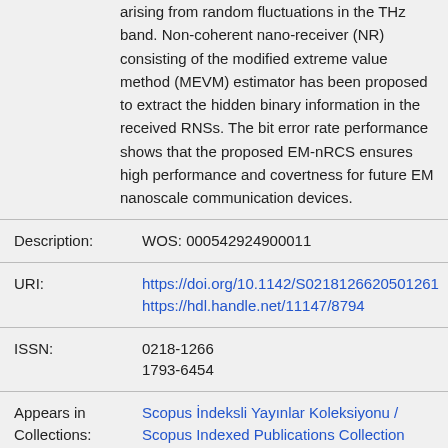arising from random fluctuations in the THz band. Non-coherent nano-receiver (NR) consisting of the modified extreme value method (MEVM) estimator has been proposed to extract the hidden binary information in the received RNSs. The bit error rate performance shows that the proposed EM-nRCS ensures high performance and covertness for future EM nanoscale communication devices.
Description: WOS: 000542924900011
URI: https://doi.org/10.1142/S0218126620501261
https://hdl.handle.net/11147/8794
ISSN: 0218-1266
1793-6454
Appears in Collections: Scopus İndeksli Yayınlar Koleksiyonu / Scopus Indexed Publications Collection
WoS İndeksli Yayınlar Koleksiyonu / WoS Indexed Publications Collection